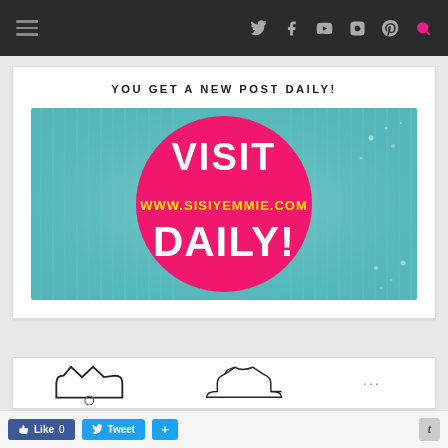Navigation bar with hamburger menu and social icons (Twitter, Facebook, YouTube, Instagram, Pinterest, Search)
YOU GET A NEW POST DAILY!
[Figure (illustration): Banner image with teal/aqua digital matrix background and a large hot pink circle in the center containing white text 'VISIT' and 'DAILY!' with yellow text 'WWW.SISIYEMMIE.COM' in the middle]
[Figure (illustration): Partial view of decorative crown/frame shapes at the bottom of the page]
Like 0   Tweet   +   t